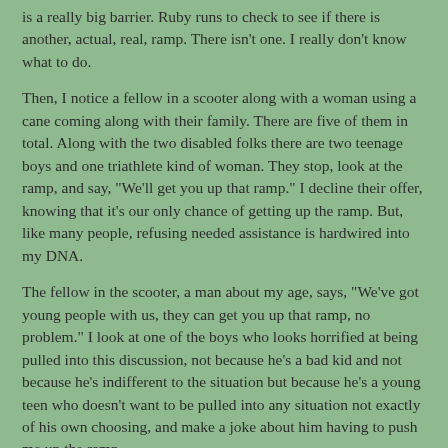is a really big barrier. Ruby runs to check to see if there is another, actual, real, ramp. There isn't one. I really don't know what to do.
Then, I notice a fellow in a scooter along with a woman using a cane coming along with their family. There are five of them in total. Along with the two disabled folks there are two teenage boys and one triathlete kind of woman. They stop, look at the ramp, and say, "We'll get you up that ramp." I decline their offer, knowing that it's our only chance of getting up the ramp. But, like many people, refusing needed assistance is hardwired into my DNA.
The fellow in the scooter, a man about my age, says, "We've got young people with us, they can get you up that ramp, no problem." I look at one of the boys who looks horrified at being pulled into this discussion, not because he's a bad kid and not because he's indifferent to the situation but because he's a young teen who doesn't want to be pulled into any situation not exactly of his own choosing, and make a joke about him having to push me up the ramp.
Then I see Ruby and Sadie watching. They are seeing a small community of people, pulled together by circumstance, incorporating disability. They are seeing acceptance with